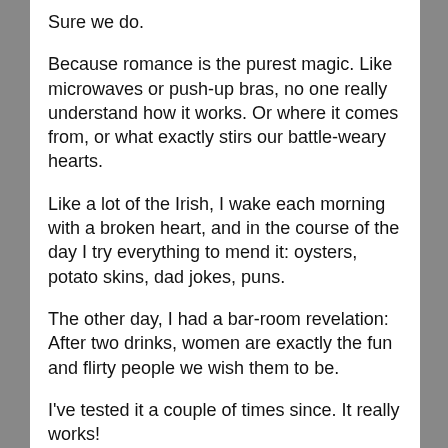Sure we do.
Because romance is the purest magic. Like microwaves or push-up bras, no one really understand how it works. Or where it comes from, or what exactly stirs our battle-weary hearts.
Like a lot of the Irish, I wake each morning with a broken heart, and in the course of the day I try everything to mend it: oysters, potato skins, dad jokes, puns.
The other day, I had a bar-room revelation: After two drinks, women are exactly the fun and flirty people we wish them to be.
I've tested it a couple of times since. It really works!
Meanwhile, my favorite little tater tot (Catty Cakes) is my new cardiologist. My granddaughter lights my heart